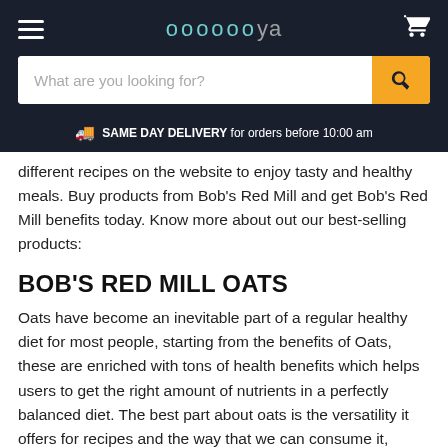ooooooya [hamburger menu] [cart icon]
[Figure (screenshot): Search bar with placeholder 'What are you looking for?' and orange search button]
SAME DAY DELIVERY for orders before 10:00 am
different recipes on the website to enjoy tasty and healthy meals. Buy products from Bob's Red Mill and get Bob's Red Mill benefits today. Know more about out our best-selling products:
BOB'S RED MILL OATS
Oats have become an inevitable part of a regular healthy diet for most people, starting from the benefits of Oats, these are enriched with tons of health benefits which helps users to get the right amount of nutrients in a perfectly balanced diet. The best part about oats is the versatility it offers for recipes and the way that we can consume it, some like it with milk, some with yoghurt, some add